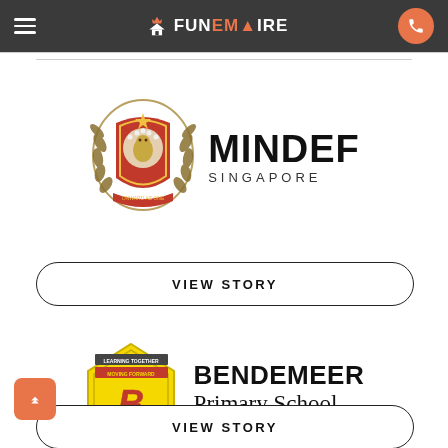FunEmpire navigation bar
[Figure (logo): MINDEF Singapore logo with crest emblem on left and MINDEF SINGAPORE text on right]
VIEW STORY
[Figure (logo): Bendemeer Primary School logo with yellow pentagon crest and text 'BENDEMEER Primary School - Learning Together, Moving Forward']
VIEW STORY